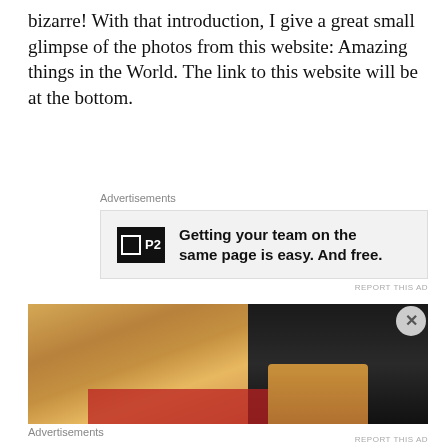bizarre!  With that introduction, I give a great small glimpse of the photos from this website:  Amazing things in the World.  The link to this website will be at the bottom.
Advertisements
[Figure (other): Advertisement banner for P2 with bold text: Getting your team on the same page is easy. And free.]
[Figure (photo): Close-up photo of what appears to be animal paws or fur, brownish/golden color with red and dark background elements.]
Advertisements